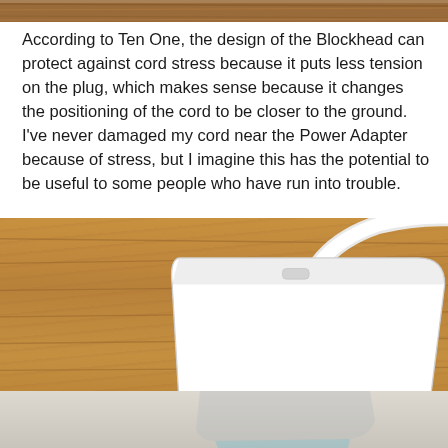[Figure (photo): Partial view of a wooden surface at the top of the page]
According to Ten One, the design of the Blockhead can protect against cord stress because it puts less tension on the plug, which makes sense because it changes the positioning of the cord to be closer to the ground. I've never damaged my cord near the Power Adapter because of stress, but I imagine this has the potential to be useful to some people who have run into trouble.
[Figure (photo): Photo of a white Apple power adapter with a blue Blockhead accessory attached, sitting on a wooden surface. A white cable exits from the top of the device. Below the main photo is a reflection/shadow of the device on a light gray surface. A close/dismiss button (×) appears in the lower right corner of the photo.]